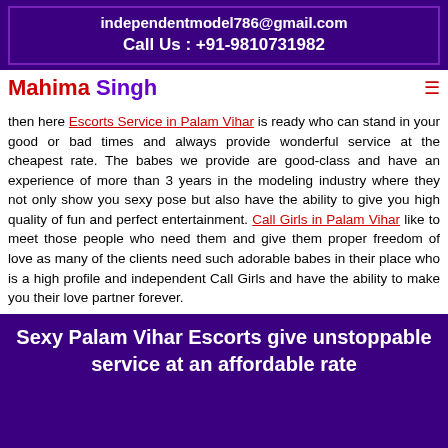independentmodel786@gmail.com
Call Us : +91-9810731982
Mahima Singh
then here Escorts Service in Palam Vihar is ready who can stand in your good or bad times and always provide wonderful service at the cheapest rate. The babes we provide are good-class and have an experience of more than 3 years in the modeling industry where they not only show you sexy pose but also have the ability to give you high quality of fun and perfect entertainment. Call Girls in Palam Vihar like to meet those people who need them and give them proper freedom of love as many of the clients need such adorable babes in their place who is a high profile and independent Call Girls and have the ability to make you their love partner forever.
Sexy Palam Vihar Escorts give unstoppable service at an affordable rate